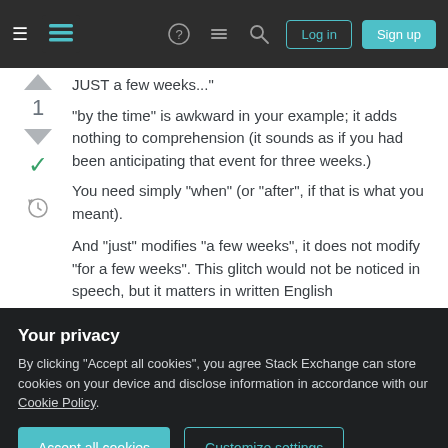Stack Exchange navigation bar with Log in and Sign up buttons
JUST a few weeks..."
"by the time" is awkward in your example; it adds nothing to comprehension (it sounds as if you had been anticipating that event for three weeks.)
You need simply "when" (or "after", if that is what you meant).
And "just" modifies "a few weeks", it does not modify "for a few weeks". This glitch would not be noticed in speech, but it matters in written English
Your privacy
By clicking "Accept all cookies", you agree Stack Exchange can store cookies on your device and disclose information in accordance with our Cookie Policy.
Accept all cookies  Customize settings